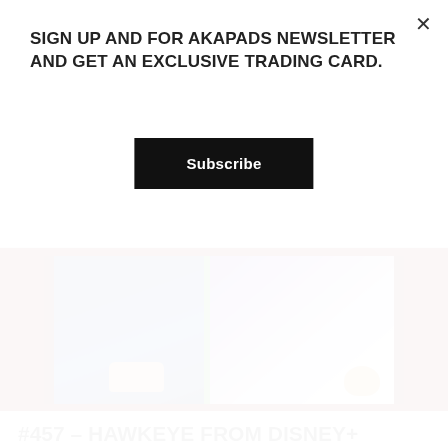SIGN UP AND FOR AKAPADS NEWSLETTER AND GET AN EXCLUSIVE TRADING CARD.
Subscribe
[Figure (photo): Composite image: left half shows a man in a blue shirt, right half shows the Hawkeye Disney+ promotional poster with characters and a dog, separated by green vertical bars, on a dark red background.]
#457 – HAWKEYE FROM DISNEY+
On May 11, 2022
2022, disney, disney plus, hawkeye, homepage blog, marvel cinematic universe, mcu, superhero podcast, talk